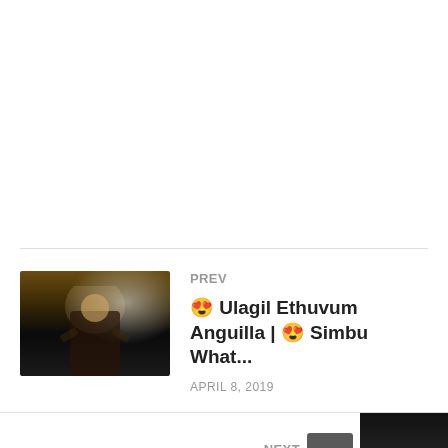[Figure (photo): Thumbnail image of a man in dark jacket with arms raised, performing on stage with bright backlight]
PREV
😍 Ulagil Ethuvum Anguilla | 😍 Simbu What...
APRIL 8, 2019
NEXT
[Figure (photo): Partial thumbnail image visible at bottom right corner]